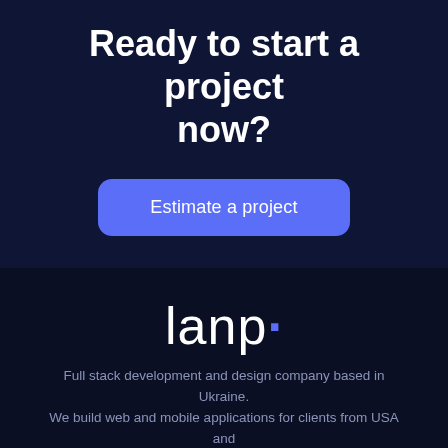Ready to start a project now?
Estimate a project
[Figure (logo): lanp logo with a blue dot after the letter p]
Full stack development and design company based in Ukraine. We build web and mobile applications for clients from USA and Europe.